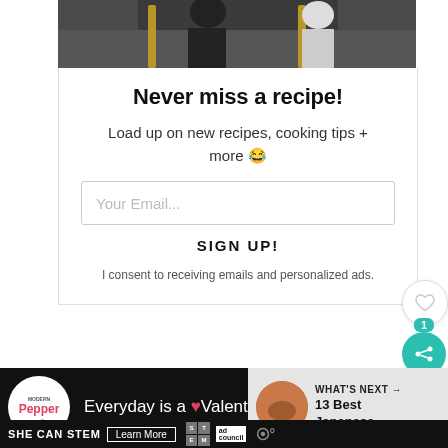[Figure (photo): Partial view of people at a dinner or event, cropped at top]
Never miss a recipe!
Load up on new recipes, cooking tips + more 😁
Your Email...
SIGN UP!
I consent to receiving emails and personalized ads.
[Figure (infographic): Heart/like button and share button with count of 1]
[Figure (screenshot): Video player bar: Modern Pepper logo, Everyday is a Valentine's ...]
WHAT'S NEXT → 13 Best Japanese...
SHE CAN STEM  Learn More